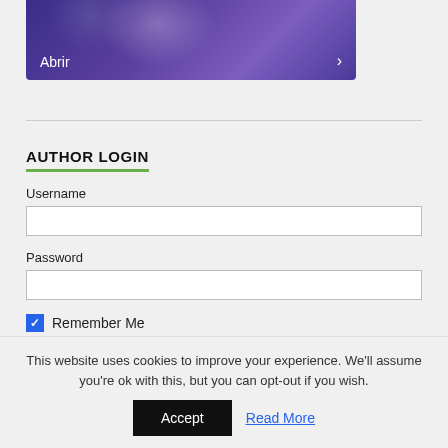[Figure (screenshot): Partially visible image card with purple/blue gradient background, showing silhouetted figures. Contains 'Abrir' text and a right-arrow chevron at the bottom.]
AUTHOR LOGIN
Username
Password
Remember Me
This website uses cookies to improve your experience. We'll assume you're ok with this, but you can opt-out if you wish.
Accept
Read More